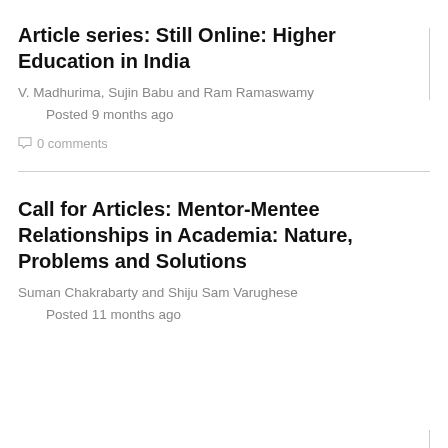Article series: Still Online: Higher Education in India
V. Madhurima, Sujin Babu and Ram Ramaswamy
Posted 9 months ago
0 comments
Call for Articles: Mentor-Mentee Relationships in Academia: Nature, Problems and Solutions
Suman Chakrabarty and Shiju Sam Varughese
Posted 11 months ago